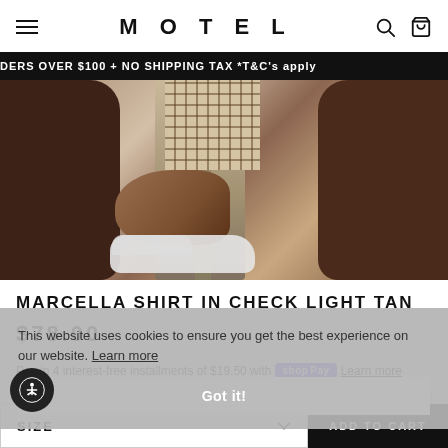MOTEL
DERS OVER $100 + NO SHIPPING TAX *T&C's apply
[Figure (photo): Product photo of Marcella Shirt in Check Light Tan — shows model's hands holding white sneakers near a distressed metal stool, wearing a brown knit garment over a beige check-print shirt]
MARCELLA SHIRT IN CHECK LIGHT TAN
$78.00
Pay in 4 interest-free installments of $19.50 with Shop Pay  Learn more
CHECK LIGHT TAN
This website uses cookies to ensure you get the best experience on our website. Learn more
Got it!
SIZE
ADD TO CART